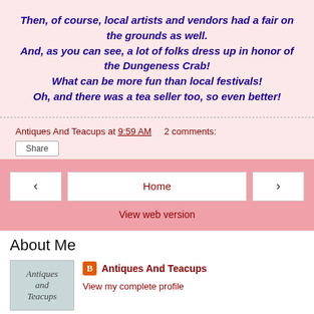Then, of course, local artists and vendors had a fair on the grounds as well.
And, as you can see, a lot of folks dress up in honor of the Dungeness Crab!
What can be more fun than local festivals!
Oh, and there was a tea seller too, so even better!
Antiques And Teacups at 9:59 AM   2 comments:
Share
Home
View web version
About Me
Antiques And Teacups
View my complete profile